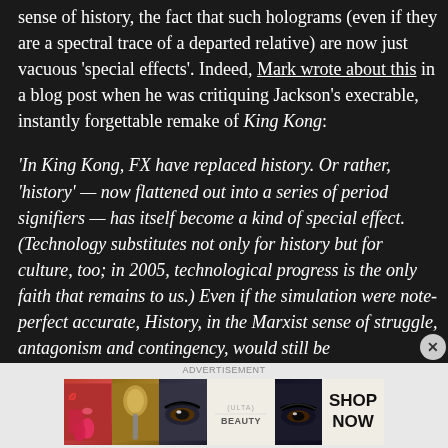sense of history, the fact that such holograms (even if they are a spectral trace of a departed relative) are now just vacuous 'special effects'. Indeed, Mark wrote about this in a blog post when he was critiquing Jackson's execrable, instantly forgettable remake of King Kong:
'In King Kong, FX have replaced history. Or rather, 'history' — now flattened out into a series of period signifiers — has itself become a kind of special effect. (Technology substitutes not only for history but for culture, too; in 2005, technological progress is the only faith that remains to us.) Even if the simulation were note-perfect accurate, History, in the Marxist sense of struggle, antagonism and contingency, would still be
[Figure (photo): ULTA Beauty advertisement banner showing makeup/beauty images including lipstick application, makeup brush, eye makeup, ULTA Beauty logo, eye closeup, with SHOP NOW call to action]